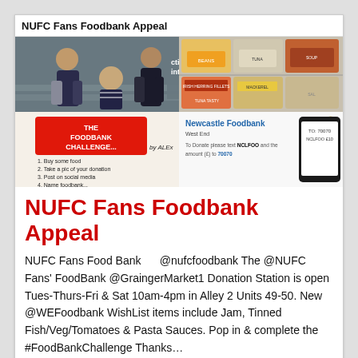NUFC Fans Foodbank Appeal
[Figure (photo): Collage of four images: top-left shows people standing in a food bank collection point, top-right shows shelves of tinned food cans, bottom-left shows a handwritten 'The Foodbank Challenge by Alex' sign with steps, bottom-right shows Newcastle Foodbank West End donation instructions with a phone showing TO:70070 NCLFOO £10]
NUFC Fans Foodbank Appeal
NUFC Fans Food Bank      @nufcfoodbank The @NUFC Fans' FoodBank @GraingerMarket1 Donation Station is open Tues-Thurs-Fri & Sat 10am-4pm in Alley 2 Units 49-50. New @WEFoodbank WishList items include Jam, Tinned Fish/Veg/Tomatoes & Pasta Sauces. Pop in & complete the #FoodBankChallenge Thanks…